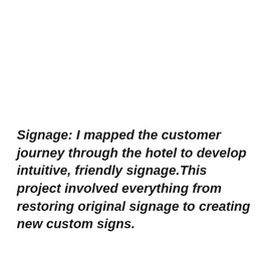Signage: I mapped the customer journey through the hotel to develop intuitive, friendly signage.This project involved everything from restoring original signage to creating new custom signs.